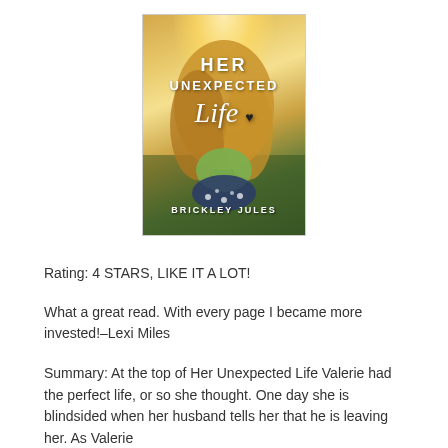[Figure (illustration): Book cover for 'Her Unexpected Life' by Brickley Jules. Features a woman with long blonde hair from behind, standing in sunlit field. Title text: HER UNEXPECTED Life (with a small heart and figure). Author name: BRICKLEY JULES at bottom.]
Rating: 4 STARS, LIKE IT A LOT!
What a great read. With every page I became more invested!–Lexi Miles
Summary: At the top of Her Unexpected Life Valerie had the perfect life, or so she thought. One day she is blindsided when her husband tells her that he is leaving her. As Valerie